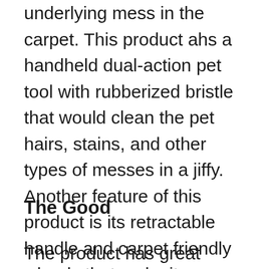underlying mess in the carpet. This product ahs a handheld dual-action pet tool with rubberized bristle that would clean the pet hairs, stains, and other types of messes in a jiffy. Another feature of this product is its retractable handle and carpet friendly wheels that make it more convenient to move around without damaging any surface. This product is compact, lightweight, and easy to store, so you are getting a lot of things out of this single but amazing product.
The Good
The product has great suction power, easy